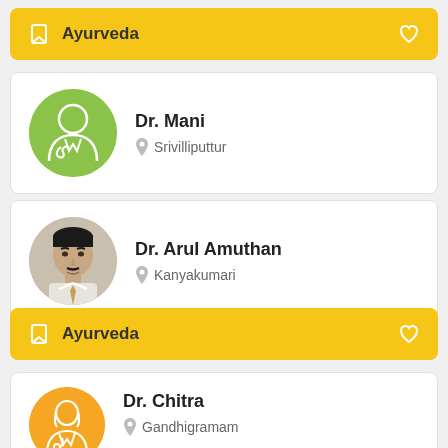Ayurveda
Dr. Mani
Srivilliputtur
Dr. Arul Amuthan
Kanyakumari
Ayurveda
Dr. Chitra
Gandhigramam